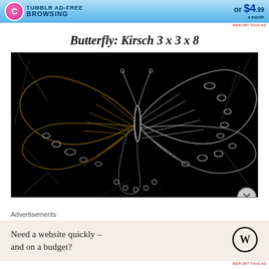[Figure (other): Ad banner with gradient blue background promoting ad-free browsing for $4.99 a month]
Butterfly: Kirsch 3 x 3 x 8
[Figure (photo): Edge-detected image of a monarch butterfly on a dark/black background, showing glowing outline contours of the butterfly wings and surrounding foliage]
Advertisements
[Figure (other): WordPress advertisement banner: Need a website quickly – and on a budget? with WordPress logo]